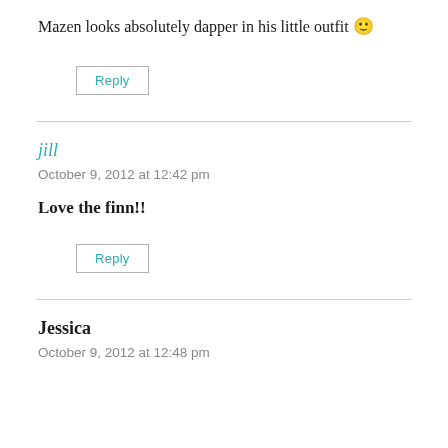Mazen looks absolutely dapper in his little outfit 🙂
Reply
jill
October 9, 2012 at 12:42 pm
Love the finn!!
Reply
Jessica
October 9, 2012 at 12:48 pm